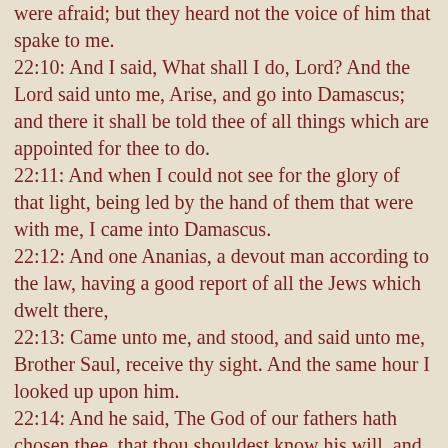were afraid; but they heard not the voice of him that spake to me. 22:10: And I said, What shall I do, Lord? And the Lord said unto me, Arise, and go into Damascus; and there it shall be told thee of all things which are appointed for thee to do. 22:11: And when I could not see for the glory of that light, being led by the hand of them that were with me, I came into Damascus. 22:12: And one Ananias, a devout man according to the law, having a good report of all the Jews which dwelt there, 22:13: Came unto me, and stood, and said unto me, Brother Saul, receive thy sight. And the same hour I looked up upon him. 22:14: And he said, The God of our fathers hath chosen thee, that thou shouldest know his will, and see that Just One, and shouldest hear the voice of his mouth. 22:15: For thou shalt be his witness unto all men of what thou hast seen and heard. 22:16: And now why tarriest thou? arise, and be baptized, and wash away thy sins, calling on the name of the Lord. 22:17: And it came to pass, that, when I was come again to Jerusalem, even while I prayed in the temple, I was in a